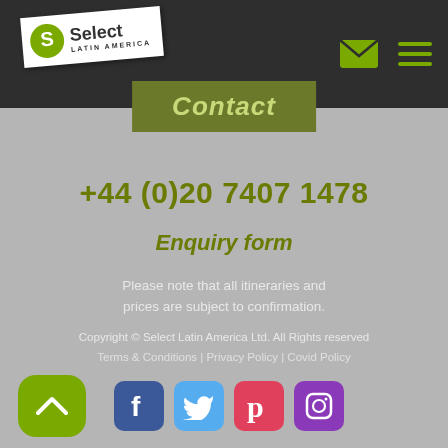[Figure (logo): Select Latin America logo on white rotated background in dark header]
Contact
+44 (0)20 7407 1478
Enquiry form
Please note that all itineraries and prices are subject to confirmation.
Copyright © Select Latin America Ltd. All Rights reserved
Terms & Conditions | Privacy Policy | Covid Policy
[Figure (illustration): Social media icons: Facebook, Twitter, Pinterest, Instagram, and a back-to-top arrow button]